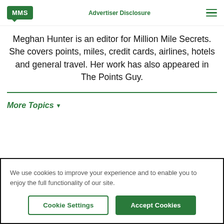MMS | Advertiser Disclosure
Meghan Hunter is an editor for Million Mile Secrets. She covers points, miles, credit cards, airlines, hotels and general travel. Her work has also appeared in The Points Guy.
More Topics ▾
We use cookies to improve your experience and to enable you to enjoy the full functionality of our site.